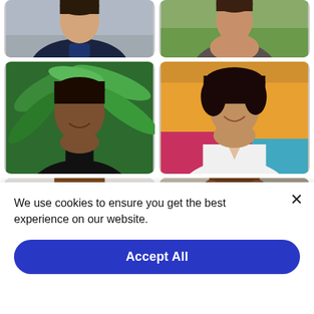[Figure (photo): Grid of six person portrait photos arranged in 3 rows of 2. Top row: man in dark jacket, woman in tank top outdoors. Middle row: woman smiling in front of fern plant, woman in white t-shirt against colorful wall. Bottom row: woman with brown hair, man with brown hair.]
We use cookies to ensure you get the best experience on our website.
Accept All